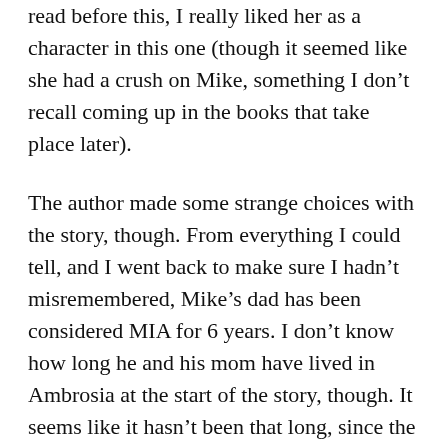read before this, I really liked her as a character in this one (though it seemed like she had a crush on Mike, something I don't recall coming up in the books that take place later).
The author made some strange choices with the story, though. From everything I could tell, and I went back to make sure I hadn't misremembered, Mike's dad has been considered MIA for 6 years. I don't know how long he and his mom have lived in Ambrosia at the start of the story, though. It seems like it hasn't been that long, since the book starts with him counting the money he's saved up to buy a bus ticket so that he can travel back home and stay with the best friend he left behind. But wording elsewhere makes it sound like they moved to Ambrosia shortly after his dad disappeared.